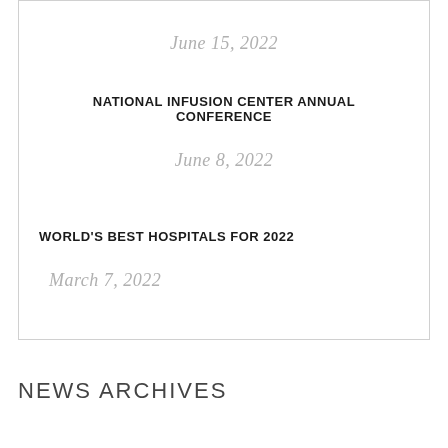June 15, 2022
NATIONAL INFUSION CENTER ANNUAL CONFERENCE
June 8, 2022
WORLD'S BEST HOSPITALS FOR 2022
March 7, 2022
NEWS ARCHIVES